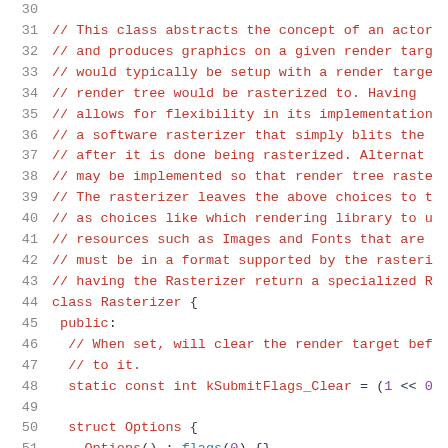Code listing showing C++ class Rasterizer definition with comments on lines 31-51
31  // This class abstracts the concept of an actor
32  // and produces graphics on a given render targe
33  // would typically be setup with a render targe
34  // render tree would be rasterized to.  Having t
35  // allows for flexibility in its implementation
36  // a software rasterizer that simply blits the c
37  // after it is done being rasterized.  Alternat
38  // may be implemented so that render tree raste
39  // The rasterizer leaves the above choices to th
40  // as choices like which rendering library to us
41  // resources such as Images and Fonts that are
42  // must be in a format supported by the rasteri
43  // having the Rasterizer return a specialized Re
44  class Rasterizer {
45   public:
46     // When set, will clear the render target bef
47     // to it.
48     static const int kSubmitFlags_Clear = (1 << 0
49
50     struct Options {
51       Options() : flags(0) {}